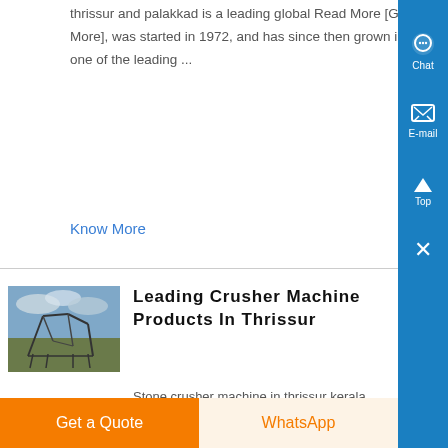thrissur and palakkad is a leading global Read More [Get More], was started in 1972, and has since then grown into one of the leading ...
Know More
Leading Crusher Machine Products In Thrissur
[Figure (photo): Photograph of a large industrial machine or structure in an outdoor field setting, with cloudy sky in background.]
Stone crusher machine in thrissur kerala elluleading crusher machine products in thrissurist of crusher owners kerala rock crushing machine company this page is about list of crusher owners kerala, tamilnadu stone crushers products
Get a Quote
WhatsApp